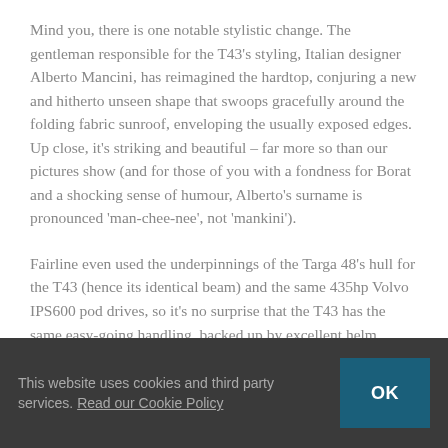Mind you, there is one notable stylistic change. The gentleman responsible for the T43's styling, Italian designer Alberto Mancini, has reimagined the hardtop, conjuring a new and hitherto unseen shape that swoops gracefully around the folding fabric sunroof, enveloping the usually exposed edges. Up close, it's striking and beautiful – far more so than our pictures show (and for those of you with a fondness for Borat and a shocking sense of humour, Alberto's surname is pronounced 'man-chee-nee', not 'mankini').
Fairline even used the underpinnings of the Targa 48's hull for the T43 (hence its identical beam) and the same 435hp Volvo IPS600 pod drives, so it's no surprise that the T43 has the same easy-going handling, backed up by excellent helm ergonomics. Fairline have retained the wide walkway access around both sides of the
This website uses cookies and third party services. Read our Cookie Policy